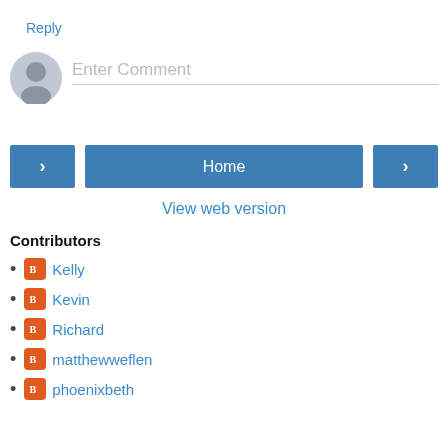such a plague. I will never understand how anyone can find him lovable.
Reply
Enter Comment
Home
View web version
Contributors
Kelly
Kevin
Richard
matthewweflen
phoenixbeth